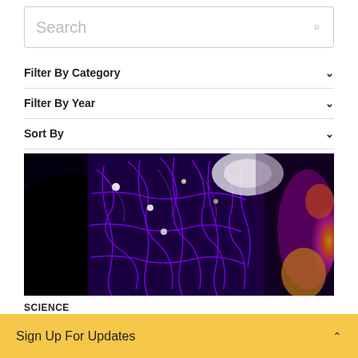Search
Filter By Category
Filter By Year
Sort By
[Figure (photo): Fluorescence microscopy image showing cellular structures with purple/violet network patterns on dark background and orange/yellow regions on the right side]
SCIENCE
Chan Zuckerberg Initiative
Sign Up For Updates